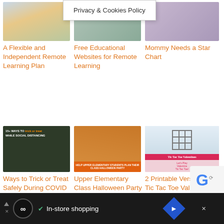[Figure (screenshot): Privacy & Cookies Policy banner overlay]
[Figure (photo): Thumbnail for A Flexible and Independent Remote Learning Plan]
A Flexible and Independent Remote Learning Plan
[Figure (photo): Thumbnail for Free Educational Websites for Remote Learning]
Free Educational Websites for Remote Learning
[Figure (photo): Thumbnail for Mommy Needs a Star Chart]
Mommy Needs a Star Chart
[Figure (photo): Thumbnail: 15+ Ways to trick or treat while social distancing]
Ways to Trick or Treat Safely During COVID
[Figure (photo): Thumbnail: Help upper elementary students plan their Class Halloween Party]
Upper Elementary Class Halloween Party with
[Figure (photo): Thumbnail: Tic Tac Toe Valentines printable]
2 Printable Versions of Tic Tac Toe Valentine Cards
[Figure (screenshot): Ad bar at bottom: In-store shopping with infinity icon and navigation diamond]
[Figure (screenshot): reCAPTCHA corner badge]